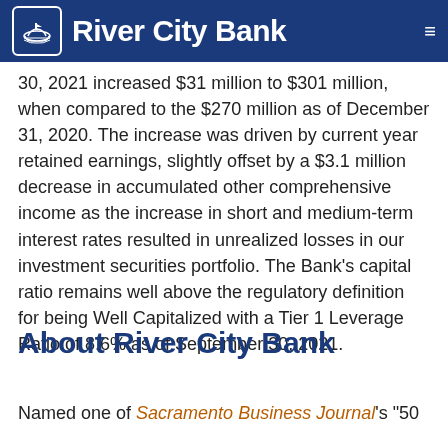River City Bank
30, 2021 increased $31 million to $301 million, when compared to the $270 million as of December 31, 2020. The increase was driven by current year retained earnings, slightly offset by a $3.1 million decrease in accumulated other comprehensive income as the increase in short and medium-term interest rates resulted in unrealized losses in our investment securities portfolio. The Bank's capital ratio remains well above the regulatory definition for being Well Capitalized with a Tier 1 Leverage Ratio of 8.6% as of September 30, 2021.
About River City Bank
Named one of Sacramento Business Journal's "50